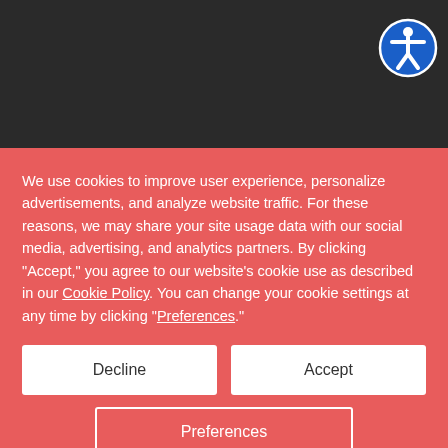[Figure (screenshot): Dark gray website header area with accessibility icon (person in circle) in top right corner]
We use cookies to improve user experience, personalize advertisements, and analyze website traffic. For these reasons, we may share your site usage data with our social media, advertising, and analytics partners. By clicking "Accept," you agree to our website's cookie use as described in our Cookie Policy. You can change your cookie settings at any time by clicking "Preferences."
[Figure (screenshot): Three buttons on red cookie consent banner: Decline (white), Accept (white), and Preferences (outlined)]
[Figure (screenshot): Bottom portion of page showing a product image area with Instacart logo text]